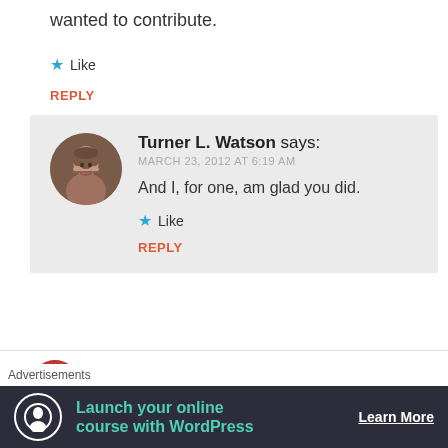wanted to contribute.
★ Like
REPLY
[Figure (photo): User avatar photo of Turner L. Watson, a man with a bald head]
Turner L. Watson says: MARCH 23, 2012 AT 6:19 AM
And I, for one, am glad you did.
★ Like
REPLY
[Figure (photo): Partial avatar of another user at bottom of page]
Advertisements
[Figure (screenshot): Advertisement banner: Launch your online course with WordPress — Learn More]